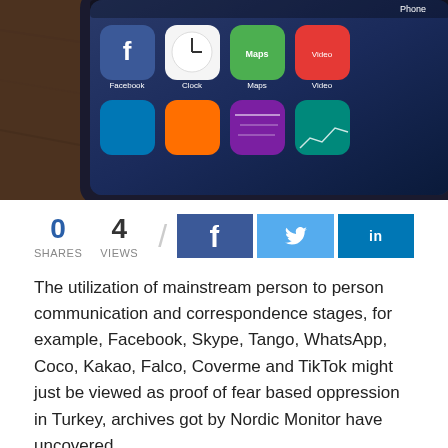[Figure (photo): Close-up photo of a smartphone showing app icons including Facebook, Maps, and other apps on the screen, placed on a wooden surface]
0 SHARES   4 VIEWS
The utilization of mainstream person to person communication and correspondence stages, for example, Facebook, Skype, Tango, WhatsApp, Coco, Kakao, Falco, Coverme and TikTok might just be viewed as proof of fear based oppression in Turkey, archives got by Nordic Monitor have uncovered.
As indicated by the records, the Çorum Police Department's Anti-pirating and Organized Crime Department kept a speculate recognized as Ahmet Can on April 26, 2019 on fear mongering related charges. At the